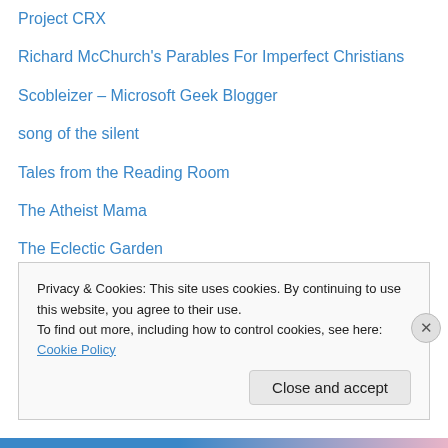Project CRX
Richard McChurch's Parables For Imperfect Christians
Scobleizer – Microsoft Geek Blogger
song of the silent
Tales from the Reading Room
The Atheist Mama
The Eclectic Garden
The Invisible Things
The Situationist
The Wittenburg Blog
Thoughts, Raves
Privacy & Cookies: This site uses cookies. By continuing to use this website, you agree to their use. To find out more, including how to control cookies, see here: Cookie Policy
Close and accept